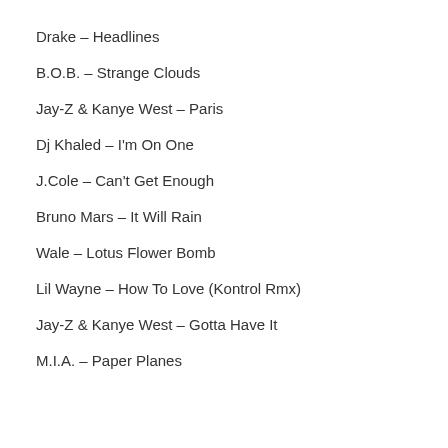Drake – Headlines
B.O.B. – Strange Clouds
Jay-Z & Kanye West – Paris
Dj Khaled – I'm On One
J.Cole – Can't Get Enough
Bruno Mars – It Will Rain
Wale – Lotus Flower Bomb
Lil Wayne – How To Love (Kontrol Rmx)
Jay-Z & Kanye West – Gotta Have It
M.I.A. – Paper Planes